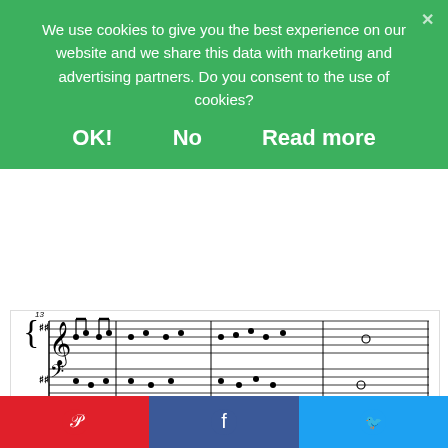We use cookies to give you the best experience on our website and we share this data with marketing and advertising partners. Do you consent to the use of cookies?
OK!   No   Read more
[Figure (illustration): Sheet music notation showing three rows of piano grand staff music. Row 1: measures 1-8 in D major (2 sharps), treble and bass clef. Row 2: measures 9-12, chord labels Bm, D/A, A7, D/A, A. Row 3: measures 13 onward, chord labels D, Bm, A7, D.]
[Figure (illustration): Social share buttons: Pinterest (red), Facebook (blue), Twitter (light blue)]